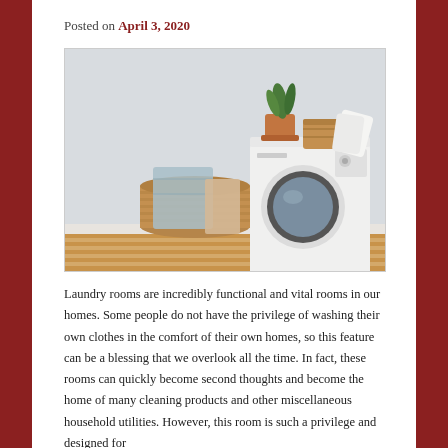Posted on April 3, 2020
[Figure (photo): A laundry room with a white front-loading washing machine. On top of the machine sit a potted green plant, a wicker basket, and folded white towels. In front of the machine is a large wicker laundry basket with a light blue towel draped over it. The floor has a striped rug in warm tones. The walls are light grey.]
Laundry rooms are incredibly functional and vital rooms in our homes. Some people do not have the privilege of washing their own clothes in the comfort of their own homes, so this feature can be a blessing that we overlook all the time. In fact, these rooms can quickly become second thoughts and become the home of many cleaning products and other miscellaneous household utilities. However, this room is such a privilege and designed for